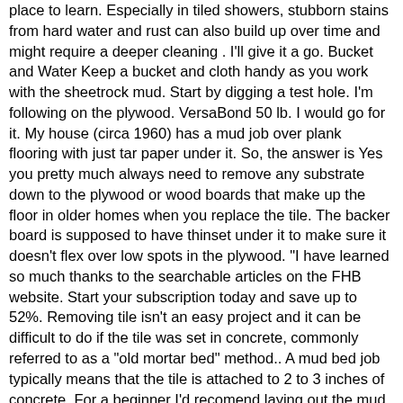place to learn. Especially in tiled showers, stubborn stains from hard water and rust can also build up over time and might require a deeper cleaning . I'll give it a go. Bucket and Water Keep a bucket and cloth handy as you work with the sheetrock mud. Start by digging a test hole. I'm following on the plywood. VersaBond 50 lb. I would go for it. My house (circa 1960) has a mud job over plank flooring with just tar paper under it. So, the answer is Yes you pretty much always need to remove any substrate down to the plywood or wood boards that make up the floor in older homes when you replace the tile. The backer board is supposed to have thinset under it to make sure it doesn't flex over low spots in the plywood. "I have learned so much thanks to the searchable articles on the FHB website. Start your subscription today and save up to 52%. Removing tile isn't an easy project and it can be difficult to do if the tile was set in concrete, commonly referred to as a "old mortar bed" method.. A mud bed job typically means that the tile is attached to 2 to 3 inches of concrete. For a beginner I'd recomend laying out the mud and the next day setting your tiles using thinset over the cement.....down the line when your comfortable with mud jobs you can set the tile directly into the mud the same day. Thanks. You are going to use this tool to scrape the floor and help you to pull up the tile. this may mean going into your basement if there are shutoff valves or it may mean turning off the main valve to your home if you are on a second floor. Removing mortar from concrete slab floor can be tricky. First remove one or a few tiles in the center of the